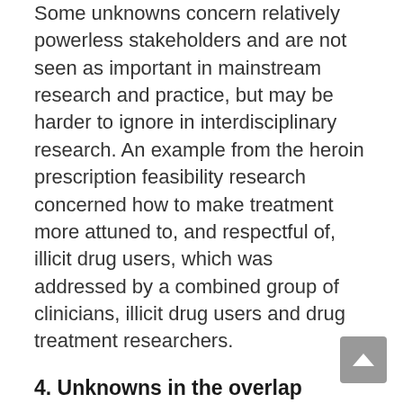Some unknowns concern relatively powerless stakeholders and are not seen as important in mainstream research and practice, but may be harder to ignore in interdisciplinary research. An example from the heroin prescription feasibility research concerned how to make treatment more attuned to, and respectful of, illicit drug users, which was addressed by a combined group of clinicians, illicit drug users and drug treatment researchers.
4. Unknowns in the overlap between disciplines
Some disciplines are traditionally closely aligned and overlap, for example sociology and anthropology. There may also be an overlap